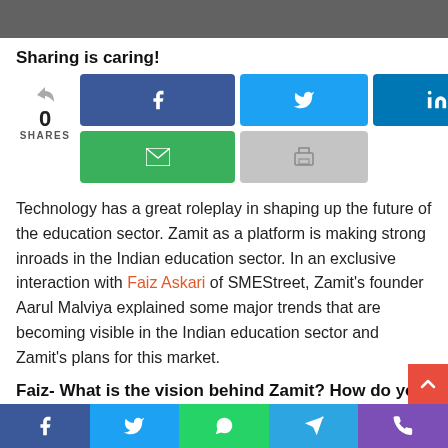[Figure (photo): Top portion of a photograph showing people, cropped at top of page]
Sharing is caring!
[Figure (infographic): Social sharing buttons: Facebook (dark blue), Twitter (light blue), LinkedIn (blue), Email (green), Print (gray), with share count showing 0 SHARES]
Technology has a great roleplay in shaping up the future of the education sector. Zamit as a platform is making strong inroads in the Indian education sector. In an exclusive interaction with Faiz Askari of SMEStreet, Zamit's founder Aarul Malviya explained some major trends that are becoming visible in the Indian education sector and Zamit's plans for this market.
Faiz- What is the vision behind Zamit? How do you lo
[Figure (infographic): Bottom social share bar with Facebook, Twitter, WhatsApp, Telegram, and Phone icons]